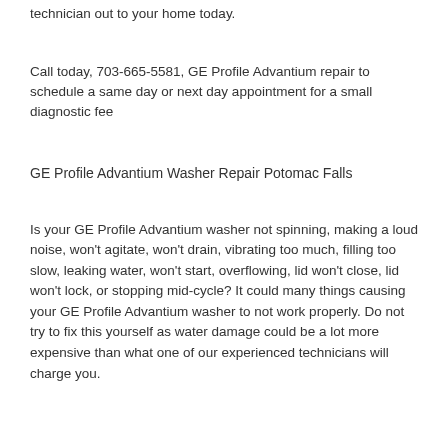technician out to your home today.
Call today, 703-665-5581, GE Profile Advantium repair to schedule a same day or next day appointment for a small diagnostic fee
GE Profile Advantium Washer Repair Potomac Falls
Is your GE Profile Advantium washer not spinning, making a loud noise, won't agitate, won't drain, vibrating too much, filling too slow, leaking water, won't start, overflowing, lid won't close, lid won't lock, or stopping mid-cycle? It could many things causing your GE Profile Advantium washer to not work properly. Do not try to fix this yourself as water damage could be a lot more expensive than what one of our experienced technicians will charge you.